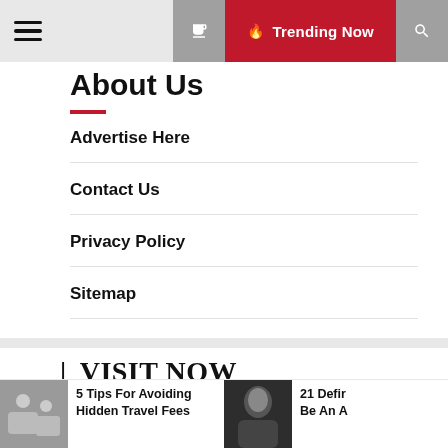Trending Now
About Us
Advertise Here
Contact Us
Privacy Policy
Sitemap
| VISIT NOW
Business & Fnance
5 Tips For Avoiding Hidden Travel Fees
21 Defir Be An A